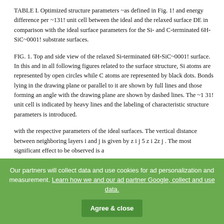TABLE I. Optimized structure parameters ~as defined in Fig. 1! and energy difference per ~131! unit cell between the ideal and the relaxed surface DE in comparison with the ideal surface parameters for the Si- and C-terminated 6H-SiC~0001! substrate surfaces.
FIG. 1. Top and side view of the relaxed Si-terminated 6H-SiC~0001! surface. In this and in all following figures related to the surface structure, Si atoms are represented by open circles while C atoms are represented by black dots. Bonds lying in the drawing plane or parallel to it are shown by full lines and those forming an angle with the drawing plane are shown by dashed lines. The ~1 31! unit cell is indicated by heavy lines and the labeling of characteristic structure parameters is introduced.
with the respective parameters of the ideal surfaces. The vertical distance between neighboring layers i and j is given by z i j 5 z i 2z j . The most significant effect to be observed is a
Our partners will collect data and use cookies for ad personalization and measurement. Learn how we and our ad partner Google, collect and use data. Agree & close